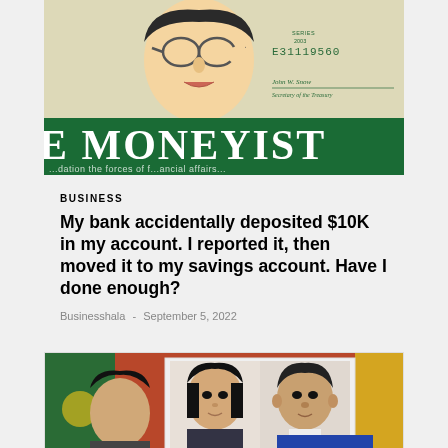[Figure (illustration): The Moneyist banner illustration showing a cartoon man in a suit adjusting glasses with a dollar bill background and green banner reading 'E MONEYIST']
BUSINESS
My bank accidentally deposited $10K in my account. I reported it, then moved it to my savings account. Have I done enough?
Businesshala - September 5, 2022
[Figure (photo): Partial photo of people at what appears to be a formal event or press conference, with flags in background]